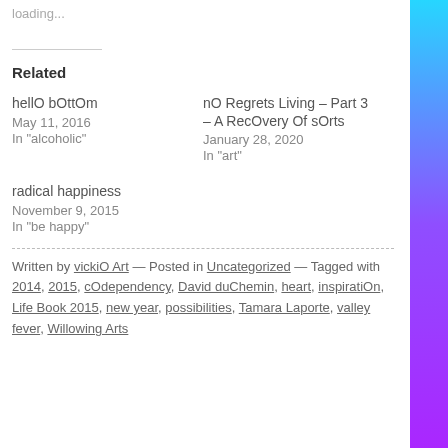loading...
Related
hellO bOttOm
May 11, 2016
In "alcoholic"
nO Regrets Living – Part 3 – A RecOvery Of sOrts
January 28, 2020
In "art"
radical happiness
November 9, 2015
In "be happy"
Written by vickiO Art — Posted in Uncategorized — Tagged with 2014, 2015, cOdependency, David duChemin, heart, inspiratiOn, Life Book 2015, new year, possibilities, Tamara Laporte, valley fever, Willowing Arts